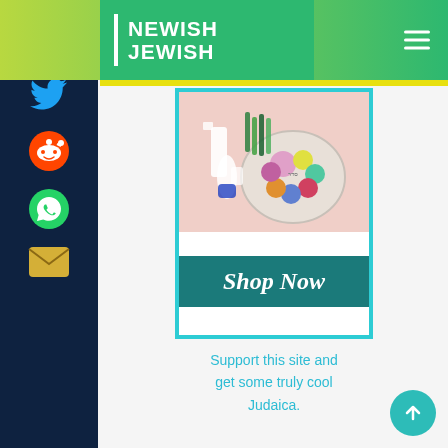NEWISH JEWISH
[Figure (screenshot): Newish Jewish website screenshot showing social media sidebar icons (Facebook, Twitter, Reddit, WhatsApp, Email), the Newish Jewish logo in the header, a product advertisement block featuring a seder plate with colorful candles, a 'Shop Now' teal button, and supporting text 'Support this site and get some truly cool Judaica.']
Shop Now
Support this site and get some truly cool Judaica.